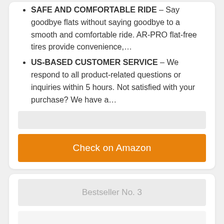SAFE AND COMFORTABLE RIDE – Say goodbye flats without saying goodbye to a smooth and comfortable ride. AR-PRO flat-free tires provide convenience,…
US-BASED CUSTOMER SERVICE – We respond to all product-related questions or inquiries within 5 hours. Not satisfied with your purchase? We have a…
Check on Amazon
Bestseller No. 3